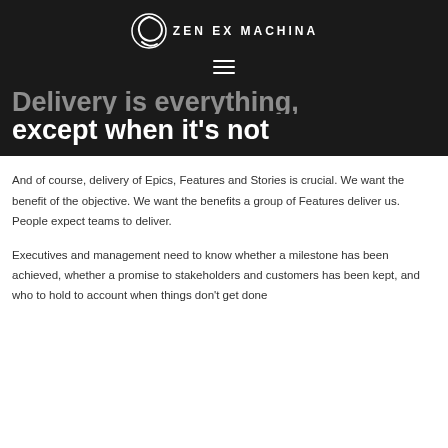[Figure (logo): Zen Ex Machina logo — circular swirl icon with text ZEN EX MACHINA on dark background]
Delivery is everything, except when it's not
And of course, delivery of Epics, Features and Stories is crucial. We want the benefit of the objective. We want the benefits a group of Features deliver us. People expect teams to deliver.
Executives and management need to know whether a milestone has been achieved, whether a promise to stakeholders and customers has been kept, and who to hold to account when things don't get done